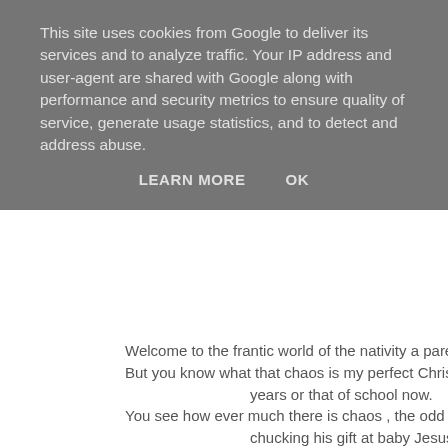This site uses cookies from Google to deliver its services and to analyze traffic. Your IP address and user-agent are shared with Google along with performance and security metrics to ensure quality of service, generate usage statistics, and to detect and address abuse.
LEARN MORE   OK
Welcome to the frantic world of the nativity a parents pride , joy and
But you know what that chaos is my perfect Christmas either through years or that of school now.
You see how ever much there is chaos , the odd child crying, the ref chucking his gift at baby Jesus shouting" Noooo Nooooo"
The teachers wishing the mulled wine had actual wine in it .
No matter what the obstacle this is my perfect Christmas chaos follo
Now how to get that pen moustache off Mary ?
"Merry Christmas! This post is my entry into the Tots100/Argos 12 D